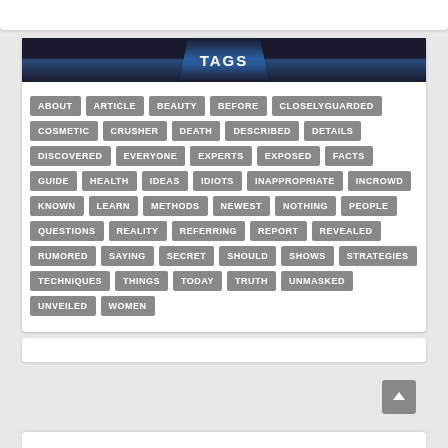[Figure (infographic): Tags cloud widget with dark header bar showing 'TAGS' and a grid of gray tag buttons: ABOUT, ARTICLE, BEAUTY, BEFORE, CLOSELYGUARDED, COSMETIC, CRUSHER, DEATH, DESCRIBED, DETAILS, DISCOVERED, EVERYONE, EXPERTS, EXPOSED, FACTS, GUIDE, HEALTH, IDEAS, IDIOTS, INAPPROPRIATE, INCROWD, KNOWN, LEARN, METHODS, NEWEST, NOTHING, PEOPLE, QUESTIONS, REALITY, REFERRING, REPORT, REVEALED, RUMORED, SAYING, SECRET, SHOULD, SHOWS, STRATEGIES, TECHNIQUES, THINGS, TODAY, TRUTH, UNMASKED, UNVEILED, WOMEN]
Search ...